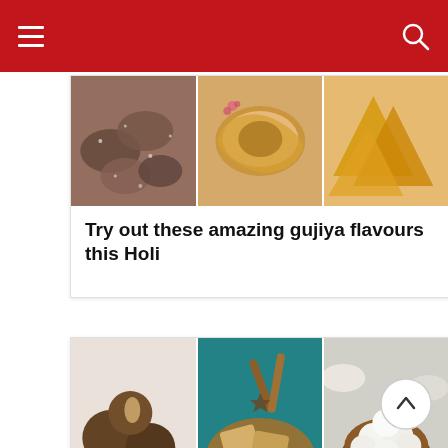Navigation bar with hamburger menu and search icon
[Figure (photo): Three food photos side by side: gujiya sweets with powdered sugar, golden gujiya pastries with filling visible, and golden samosa-style pastries on a plate]
Try out these amazing gujiya flavours this Holi
[Figure (photo): Three food photos side by side: chocolate mawa ladoo with almond, halwa/sooji barfi with spices on teal background, and white coconut ladoo in a bowl]
Fusion desserts every foodie must try this Holi